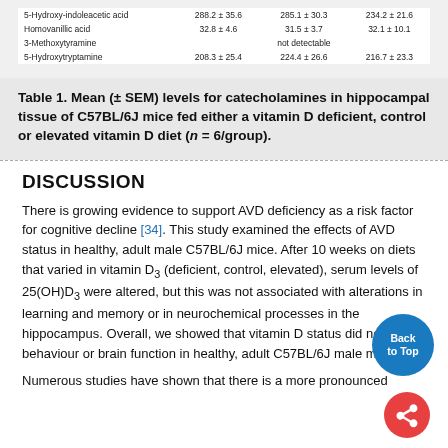|  | Vitamin D Deficient | Control | Elevated Vitamin D |
| --- | --- | --- | --- |
| 5-Hydroxy-indoleacetic acid | 288.2 ± 35.6 | 285.1 ± 30.3 | 234.2 ± 21.6 |
| Homovanillic acid | 32.8 ± 4.6 | 31.5 ± 3.7 | 32.1 ± 10.1 |
| 3-Methoxytyramine |  | not detectable |  |
| 5-Hydroxytryptamine | 208.3 ± 25.4 | 224.4 ± 26.6 | 216.7 ± 23.3 |
Table 1. Mean (± SEM) levels for catecholamines in hippocampal tissue of C57BL/6J mice fed either a vitamin D deficient, control or elevated vitamin D diet (n = 6/group).
DISCUSSION
There is growing evidence to support AVD deficiency as a risk factor for cognitive decline [34]. This study examined the effects of AVD status in healthy, adult male C57BL/6J mice. After 10 weeks on diets that varied in vitamin D3 (deficient, control, elevated), serum levels of 25(OH)D3 were altered, but this was not associated with alterations in learning and memory or in neurochemical processes in the hippocampus. Overall, we showed that vitamin D status did not affect behaviour or brain function in healthy, adult C57BL/6J male mice.
Numerous studies have shown that there is a more pronounced